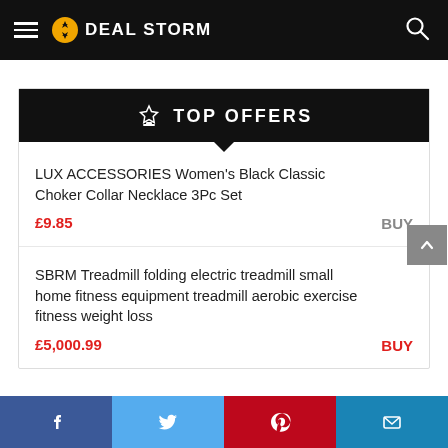DEAL STORM
TOP OFFERS
LUX ACCESSORIES Women's Black Classic Choker Collar Necklace 3Pc Set — £9.85 BUY
SBRM Treadmill folding electric treadmill small home fitness equipment treadmill aerobic exercise fitness weight loss — £5,000.99 BUY
Facebook | Twitter | Pinterest | Email